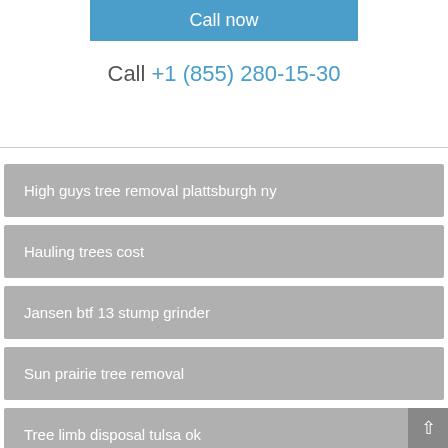Call now
Call +1 (855) 280-15-30
High guys tree removal plattsburgh ny
Hauling trees cost
Jansen btf 13 stump grinder
Sun prairie tree removal
Tree limb disposal tulsa ok